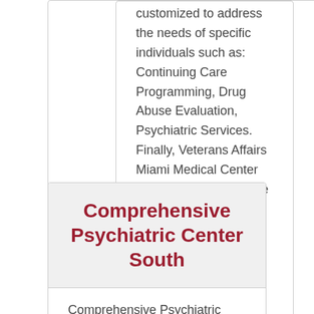customized to address the needs of specific individuals such as: Continuing Care Programming, Drug Abuse Evaluation, Psychiatric Services. Finally, Veterans Affairs Miami Medical Center Outpatient Subst Abuse Clinic OSAC accepts the following payment types, such as Military Insurance, Payment Sponsorship.
Comprehensive Psychiatric Center South
Comprehensive Psychiatric Center South is an alcohol and drug treatment program